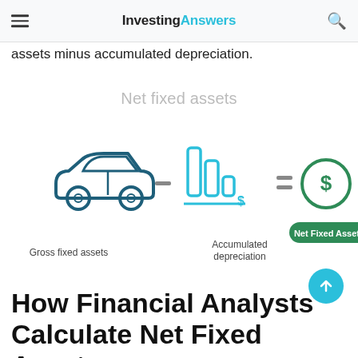InvestingAnswers
assets minus accumulated depreciation.
Net fixed assets
[Figure (infographic): Infographic showing formula: Gross fixed assets (car icon) minus Accumulated depreciation (bar chart icon with dollar sign) equals Net Fixed Assets (dollar sign in circle with green label)]
How Financial Analysts Calculate Net Fixed Assets